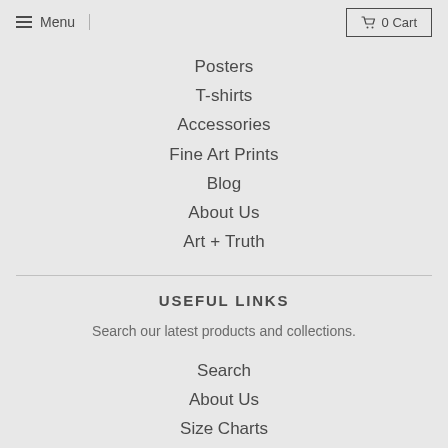≡ Menu   🛒 0 Cart
Posters
T-shirts
Accessories
Fine Art Prints
Blog
About Us
Art + Truth
USEFUL LINKS
Search our latest products and collections.
Search
About Us
Size Charts
GET IN TOUCH